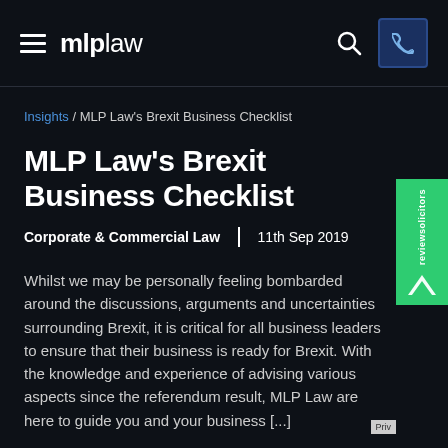mlplaw — navigation header with hamburger menu, search icon, and phone button
Insights / MLP Law's Brexit Business Checklist
MLP Law's Brexit Business Checklist
Corporate & Commercial Law  |  11th Sep 2019
Whilst we may be personally feeling bombarded around the discussions, arguments and uncertainties surrounding Brexit, it is critical for all business leaders to ensure that their business is ready for Brexit. With the knowledge and experience of advising various aspects since the referendum result, MLP Law are here to guide you and your business [...]